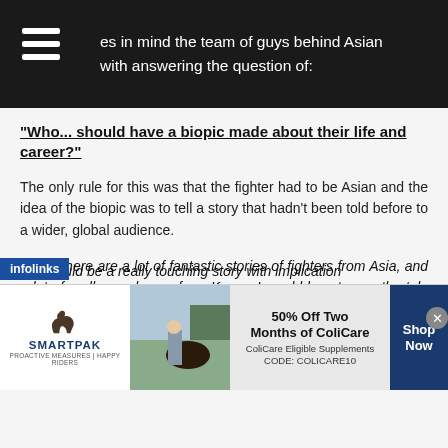es in mind the team of guys behind Asian with answering the question of:
"Who... should have a biopic made about their life and career?"
The only rule for this was that the fighter had to be Asian and the idea of the biopic was to tell a story that hadn't been told before to a wider, global audience.
Lee: "There are a lot of fantastic stories of fighters from Asia, and a lot of really good ones from Korea. I would love to see the tale of Yo Sam Choi given the big screen treatment, as I think it would really tear at the heart strings of viewers. His WBC world title win, with his battle to keep Korean boxing relevant, his retirements, his untimely death and his organ donations would be a really touching story with implications
[Figure (other): SmartPak advertisement banner: 50% Off Two Months of ColiCare, ColiCare Eligible Supplements, CODE: COLICARE10. Shop Now button. SmartPak logo with horse. Photo of woman with horse.]